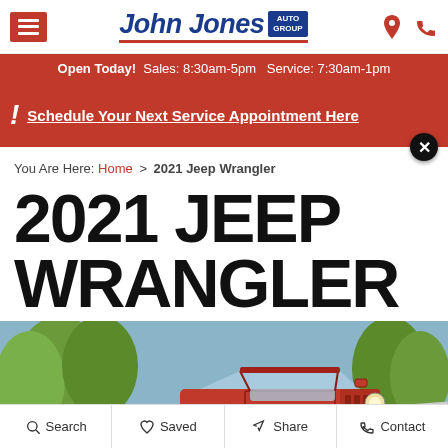John Jones Auto Group | Open Today! Sales: 8:30am-5pm Service: 7:30am-1pm
Schedule Your Next Service Appointment Here
You Are Here: Home > 2021 Jeep Wrangler
2021 JEEP WRANGLER
[Figure (photo): Red 2021 Jeep Wrangler driving on a curved mountain road with trees in background]
Search | Saved | Share | Contact